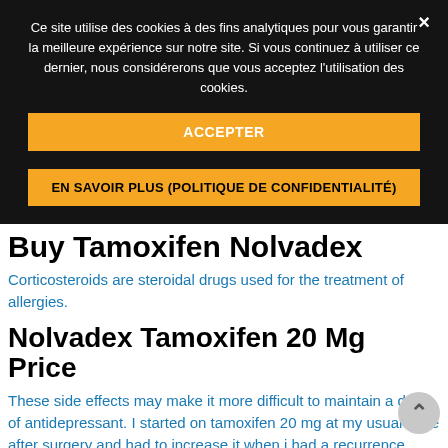Ce site utilise des cookies à des fins analytiques pour vous garantir la meilleure expérience sur notre site. Si vous continuez à utiliser ce dernier, nous considérerons que vous acceptez l'utilisation des cookies.
ACCEPTER
EN SAVOIR PLUS (POLITIQUE DE CONFIDENTIALITÉ)
Buy Tamoxifen Nolvadex
Corticosteroids are steroidal drugs used for the treatment of allergies.
Nolvadex Tamoxifen 20 Mg Price
These side effects may make it more difficult to maintain a dose of antidepressant. I started on tamoxifen 20 mg at my usual dose after surgery and had to increase it when i had a recurrence.
Tamoxifen 10 Mg Online